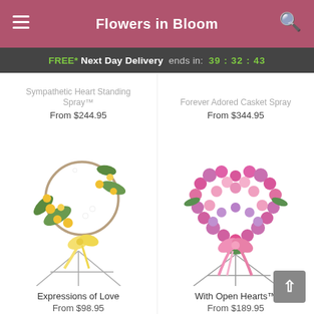Flowers in Bloom
FREE* Next Day Delivery ends in: 39:32:43
Sympathetic Heart Standing Spray™
From $244.95
Forever Adored Casket Spray
From $344.95
[Figure (photo): Yellow floral standing spray arrangement on a wire easel with a yellow ribbon bow]
Expressions of Love
From $98.95
[Figure (photo): Pink heart-shaped floral wreath on a wire easel with a pink ribbon bow]
With Open Hearts™
From $189.95